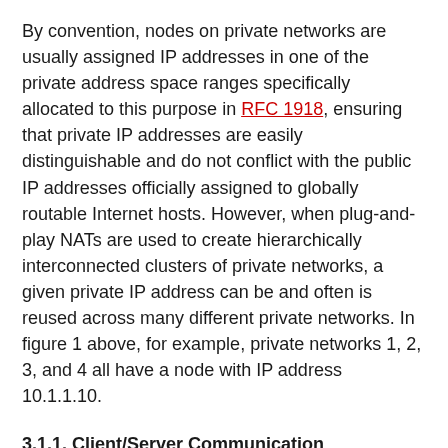By convention, nodes on private networks are usually assigned IP addresses in one of the private address space ranges specifically allocated to this purpose in RFC 1918, ensuring that private IP addresses are easily distinguishable and do not conflict with the public IP addresses officially assigned to globally routable Internet hosts. However, when plug-and-play NATs are used to create hierarchically interconnected clusters of private networks, a given private IP address can be and often is reused across many different private networks. In figure 1 above, for example, private networks 1, 2, 3, and 4 all have a node with IP address 10.1.1.10.
3.1.1. Client/Server Communication
When a host on a private network initiates a client/server-style communication session with a server on the public Internet, via the server's public IP address, the NAT intercepts the packets comprising that session (usually as a consequence of being the default router for the private